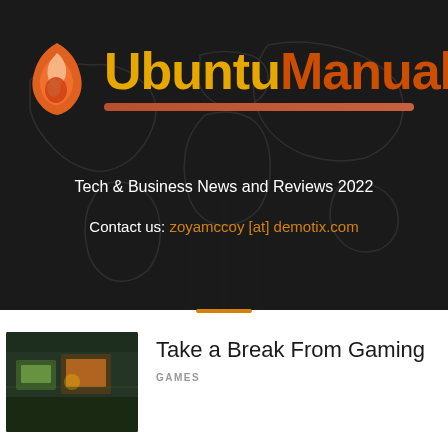[Figure (logo): UbuntuManual logo with flame icon in orange/white, wordmark 'Ubuntu' in yellow-gold and 'Manual' in dark orange, with a brownish-red horizontal bar beneath on a dark background with faint world map]
Tech & Business News and Reviews 2022
Contact us: zoyamccoy [at] demotix.com
[Figure (photo): Thumbnail image of a gaming scene with colorful arcade/gaming environment]
Take a Break From Gaming
GAMES